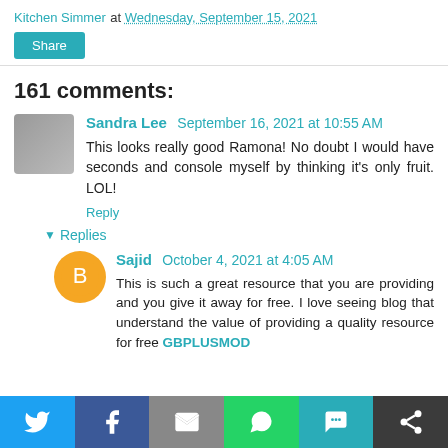Kitchen Simmer at Wednesday, September 15, 2021
Share
161 comments:
Sandra Lee  September 16, 2021 at 10:55 AM
This looks really good Ramona! No doubt I would have seconds and console myself by thinking it's only fruit. LOL!
Reply
▼ Replies
Sajid  October 4, 2021 at 4:05 AM
This is such a great resource that you are providing and you give it away for free. I love seeing blog that understand the value of providing a quality resource for free GBPLUSMOD